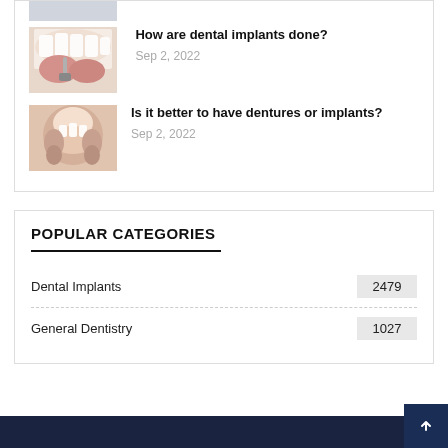[Figure (photo): Partial view of dental implant/teeth photo (cropped at top)]
How are dental implants done?
Sep 2, 2022
[Figure (photo): Woman smiling with hands on cheeks, dentures or implants article image]
Is it better to have dentures or implants?
Sep 2, 2022
POPULAR CATEGORIES
Dental Implants
2479
General Dentistry
1027